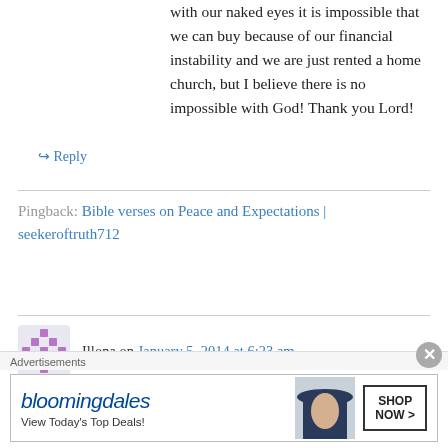with our naked eyes it is impossible that we can buy because of our financial instability and we are just rented a home church, but I believe there is no impossible with God! Thank you Lord!
↳ Reply
Pingback: Bible verses on Peace and Expectations | seekeroftruth712
Illona on January 5, 2014 at 6:23 am
Hallejuah! woke up looking for comforting words from the Bible and google onto your site. Thanks
[Figure (infographic): Bloomingdales advertisement banner: 'View Today's Top Deals!' with SHOP NOW > button and image of woman in hat]